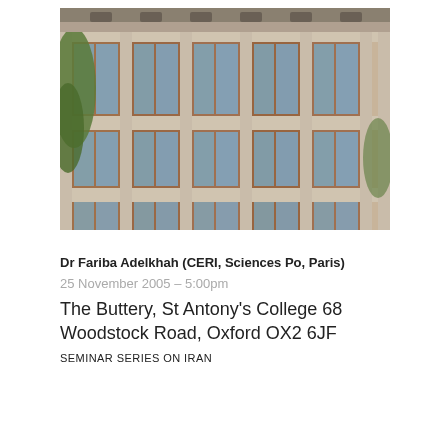[Figure (photo): Exterior photo of a modern building facade with wood cladding and large glass windows arranged in a grid pattern. Green trees visible on the left side. Blue sky reflected in windows.]
Dr Fariba Adelkhah (CERI, Sciences Po, Paris)
25 November 2005 – 5:00pm
The Buttery, St Antony's College 68 Woodstock Road, Oxford OX2 6JF
SEMINAR SERIES ON IRAN